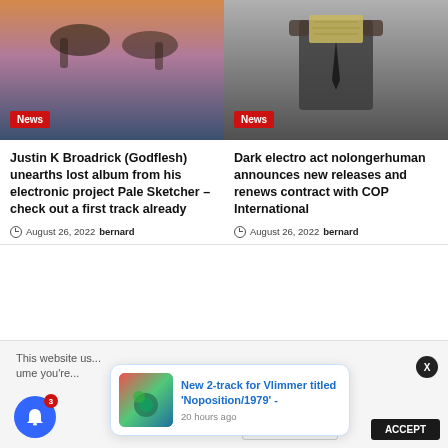[Figure (photo): Sunset photo with hands silhouetted, warm gradient tones]
News
Justin K Broadrick (Godflesh) unearths lost album from his electronic project Pale Sketcher – check out a first track already
August 26, 2022  bernard
[Figure (photo): Man in suit with dollar bills covering his face]
News
Dark electro act nolongerhuman announces new releases and renews contract with COP International
August 26, 2022  bernard
This website us... ume you're...
[Figure (photo): Notification popup image showing colorful plant/nature]
New 2-track for Vlimmer titled 'Noposition/1979' -
20 hours ago